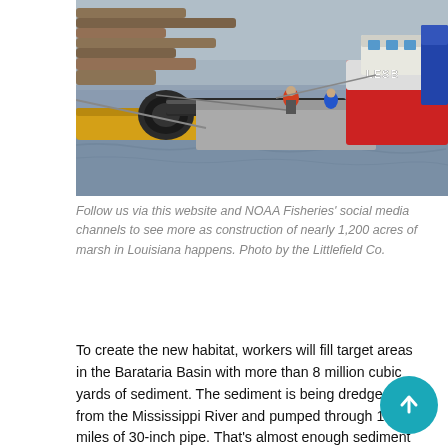[Figure (photo): Aerial/ground-level view of dredging barges and equipment on a river, with large pipes, yellow floats, and a red tugboat labeled 'LESB'. Workers visible on the barge.]
Follow us via this website and NOAA Fisheries' social media channels to see more as construction of nearly 1,200 acres of marsh in Louisiana happens. Photo by the Littlefield Co.
To create the new habitat, workers will fill target areas in the Barataria Basin with more than 8 million cubic yards of sediment. The sediment is being dredged from the Mississippi River and pumped through 13 miles of 30-inch pipe. That's almost enough sediment to fill two Superdome stadiums!
Once there, the sediment will be held in place by human-made dikes. The sediment is contained to keep the slurry (the sediment and water) within the marsh creation area and to allow the area to drain and